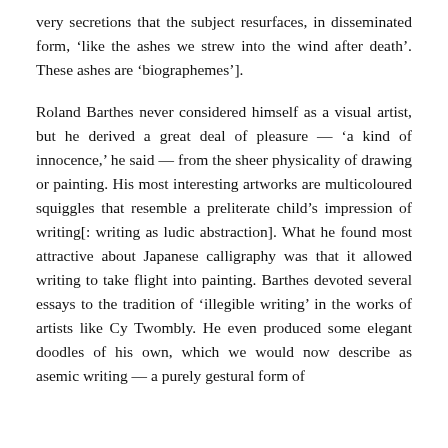very secretions that the subject resurfaces, in disseminated form, ‘like the ashes we strew into the wind after death’. These ashes are ‘biographemes’].
Roland Barthes never considered himself as a visual artist, but he derived a great deal of pleasure — ‘a kind of innocence,’ he said — from the sheer physicality of drawing or painting. His most interesting artworks are multicoloured squiggles that resemble a preliterate child’s impression of writing[: writing as ludic abstraction]. What he found most attractive about Japanese calligraphy was that it allowed writing to take flight into painting. Barthes devoted several essays to the tradition of ‘illegible writing’ in the works of artists like Cy Twombly. He even produced some elegant doodles of his own, which we would now describe as asemic writing — a purely gestural form of writing with no conventional semantic content. The